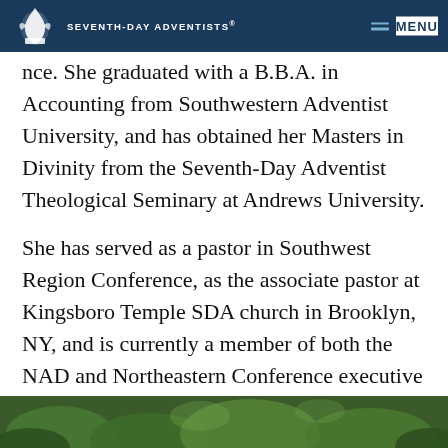SEVENTH-DAY ADVENTISTS® | MENU
nce. She graduated with a B.B.A. in Accounting from Southwestern Adventist University, and has obtained her Masters in Divinity from the Seventh-Day Adventist Theological Seminary at Andrews University.
She has served as a pastor in Southwest Region Conference, as the associate pastor at Kingsboro Temple SDA church in Brooklyn, NY, and is currently a member of both the NAD and Northeastern Conference executive committee and as of January 1, 2022, she is the senior pastor of Brownsville SDA Church, in Brooklyn, NY.
[Figure (photo): Green foliage/nature photo at bottom of page, partially visible]